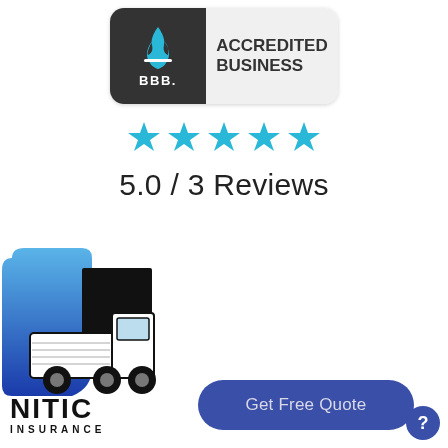[Figure (logo): BBB Accredited Business badge with dark left panel showing BBB flame logo and 'BBB.' text, and light right panel showing 'ACCREDITED BUSINESS' in bold]
[Figure (other): Five cyan/teal star rating icons in a row]
5.0 / 3 Reviews
[Figure (logo): NITIC Insurance logo showing a semi-truck with blue swoosh background and 'NITIC INSURANCE' text in black bold font]
[Figure (other): Get Free Quote button with dark blue rounded rectangle background and light text]
[Figure (other): Help/question mark circular button in dark blue at bottom right]